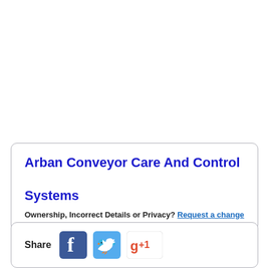Arban Conveyor Care And Control Systems
Ownership, Incorrect Details or Privacy? Request a change
Share